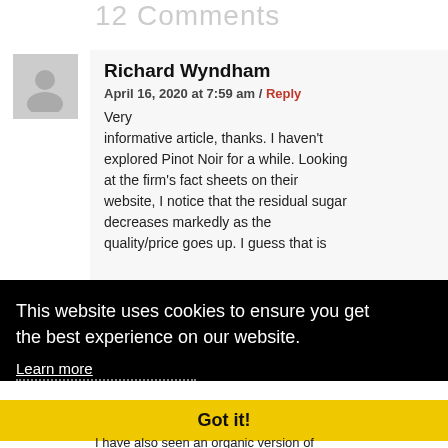12 Comments
Richard Wyndham
April 16, 2020 at 7:59 am / Reply
Very informative article, thanks. I haven't explored Pinot Noir for a while. Looking at the firm's fact sheets on their website, I notice that the residual sugar decreases markedly as the quality/price goes up. I guess that is
This website uses cookies to ensure you get the best experience on our website.
Learn more
Got it!
I have also seen an organic version of